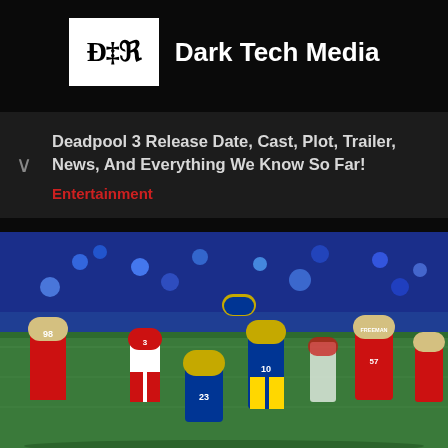[Figure (logo): Dark Tech Media logo with gothic DTM letters in white box]
Dark Tech Media
Deadpool 3 Release Date, Cast, Plot, Trailer, News, And Everything We Know So Far!
Entertainment
[Figure (photo): NFL game action photo showing San Francisco 49ers (red uniforms, numbers 98, 3, 57 FREEMAN) vs Los Angeles Rams (blue and yellow uniforms, number 10, 23) on field with crowd in background]